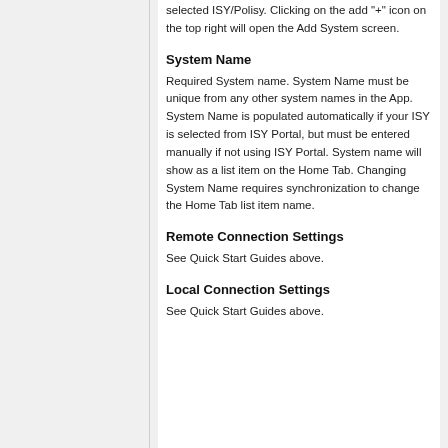selected ISY/Polisy. Clicking on the add "+" icon on the top right will open the Add System screen.
System Name
Required System name. System Name must be unique from any other system names in the App. System Name is populated automatically if your ISY is selected from ISY Portal, but must be entered manually if not using ISY Portal. System name will show as a list item on the Home Tab. Changing System Name requires synchronization to change the Home Tab list item name.
Remote Connection Settings
See Quick Start Guides above.
Local Connection Settings
See Quick Start Guides above.